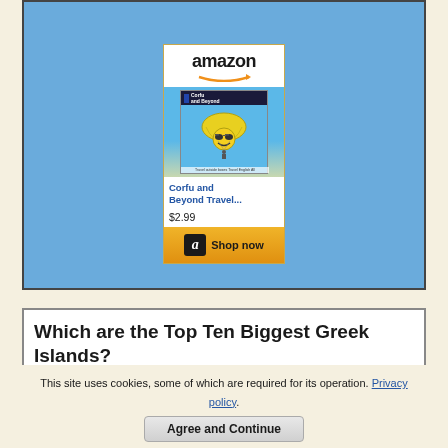[Figure (screenshot): Amazon advertisement panel showing a book titled 'Corfu and Beyond Travel...' with a smiley-face parachute book cover, priced at $2.99, with a 'Shop now' button]
Which are the Top Ten Biggest Greek Islands?
This site uses cookies, some of which are required for its operation. Privacy policy.
Agree and Continue